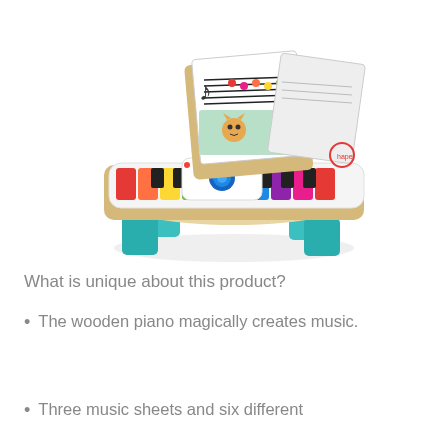[Figure (photo): A colorful wooden toy piano with rainbow-colored keys, teal legs, a white electronic control panel with a blue knob and buttons, and a music sheet holder/tablet stand at the back. The piano has sheet music displayed. Brand appears to be Hape.]
What is unique about this product?
The wooden piano magically creates music.
Three music sheets and six different